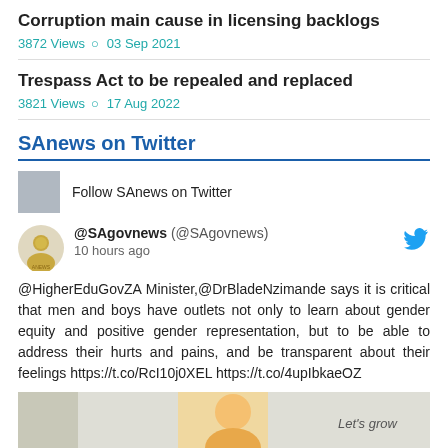Corruption main cause in licensing backlogs
3872 Views  03 Sep 2021
Trespass Act to be repealed and replaced
3821 Views  17 Aug 2022
SAnews on Twitter
Follow SAnews on Twitter
@SAgovnews (@SAgovnews)
10 hours ago
@HigherEduGovZA Minister,@DrBladeNzimande says it is critical that men and boys have outlets not only to learn about gender equity and positive gender representation, but to be able to address their hurts and pains, and be transparent about their feelings https://t.co/RcI10j0XEL https://t.co/4upIbkaeOZ
[Figure (photo): Photograph of a person at a government event, with 'Let's grow' text visible in the bottom right corner]